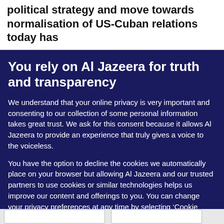political strategy and move towards normalisation of US-Cuban relations today has
You rely on Al Jazeera for truth and transparency
We understand that your online privacy is very important and consenting to our collection of some personal information takes great trust. We ask for this consent because it allows Al Jazeera to provide an experience that truly gives a voice to the voiceless.
You have the option to decline the cookies we automatically place on your browser but allowing Al Jazeera and our trusted partners to use cookies or similar technologies helps us improve our content and offerings to you. You can change your privacy preferences at any time by selecting ‘Cookie preferences’ at the bottom of your screen. To learn more, please view our Cookie Policy.